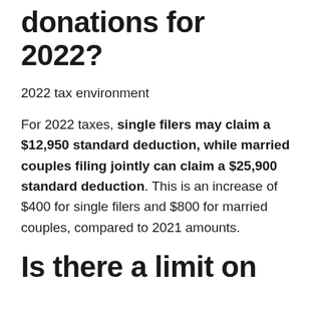donations for 2022?
2022 tax environment
For 2022 taxes, single filers may claim a $12,950 standard deduction, while married couples filing jointly can claim a $25,900 standard deduction. This is an increase of $400 for single filers and $800 for married couples, compared to 2021 amounts.
Is there a limit on